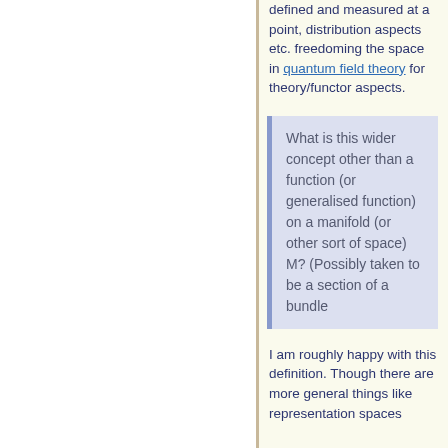defined and measured at a point, distribution aspects etc. freedoming the space in quantum field theory for theory/functor aspects.
What is this wider concept other than a function (or generalised function) on a manifold (or other sort of space) M? (Possibly taken to be a section of a bundle
I am roughly happy with this definition. Though there are more general things like representation spaces